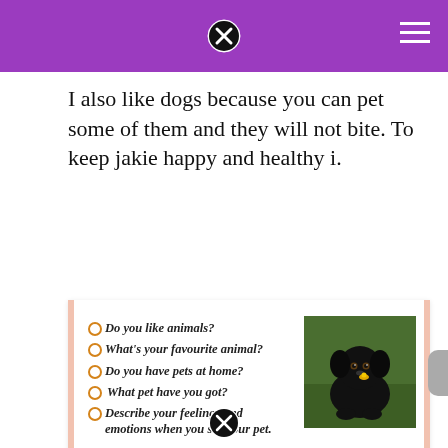I also like dogs because you can pet some of them and they will not bite. To keep jakie happy and healthy i.
[Figure (screenshot): A presentation slide or worksheet card with bullet-point questions about animals and pets, accompanied by a photo of a black puppy sitting on grass. Questions: Do you like animals? What's your favourite animal? Do you have pets at home? What pet have you got? Describe your feelings and emotions when you see your pet. MyShared watermark at bottom right.]